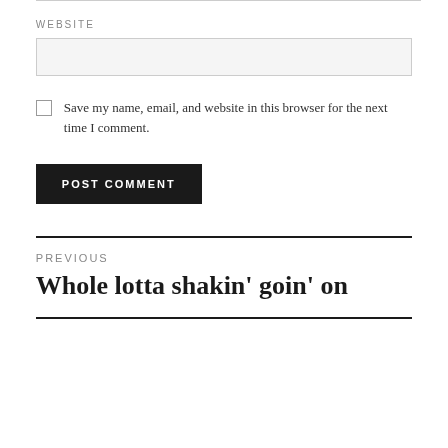WEBSITE
Save my name, email, and website in this browser for the next time I comment.
POST COMMENT
PREVIOUS
Whole lotta shakin' goin' on